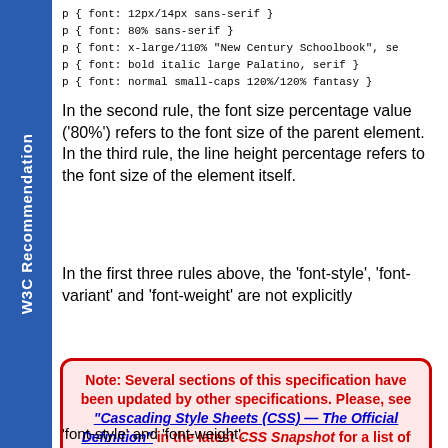W3C Recommendation
p { font: 12px/14px sans-serif }
p { font: 80% sans-serif }
p { font: x-large/110% "New Century Schoolbook", se
p { font: bold italic large Palatino, serif }
p { font: normal small-caps 120%/120% fantasy }
In the second rule, the font size percentage value ('80%') refers to the font size of the parent element. In the third rule, the line height percentage refers to the font size of the element itself.
In the first three rules above, the 'font-style', 'font-variant' and 'font-weight' are not explicitly
Note: Several sections of this specification have been updated by other specifications. Please, see "Cascading Style Sheets (CSS) — The Official Definition" in the latest CSS Snapshot for a list of specifications and the sections they replace.

The CSS Working Group is also developing CSS level 2 revision 2 (CSS 2.2).

(hide)
'font-style' and 'font-weight'.